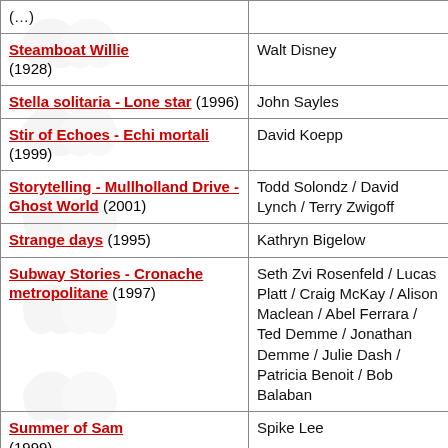| Film | Director |
| --- | --- |
| (…) |  |
| Steamboat Willie (1928) | Walt Disney |
| Stella solitaria - Lone star (1996) | John Sayles |
| Stir of Echoes - Echi mortali (1999) | David Koepp |
| Storytelling - Mullholland Drive - Ghost World (2001) | Todd Solondz / David Lynch / Terry Zwigoff |
| Strange days (1995) | Kathryn Bigelow |
| Subway Stories - Cronache metropolitane (1997) | Seth Zvi Rosenfeld / Lucas Platt / Craig McKay / Alison Maclean / Abel Ferrara / Ted Demme / Jonathan Demme / Julie Dash / Patricia Benoit / Bob Balaban |
| Summer of Sam (1999) | Spike Lee |